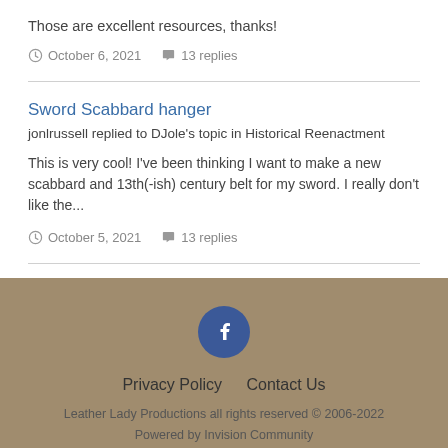Those are excellent resources, thanks!
October 6, 2021  13 replies
Sword Scabbard hanger
jonlrussell replied to DJole's topic in Historical Reenactment
This is very cool! I've been thinking I want to make a new scabbard and 13th(-ish) century belt for my sword. I really don't like the...
October 5, 2021  13 replies
Privacy Policy  Contact Us
Leather Lady Productions all rights reserved © 2006-2022
Powered by Invision Community